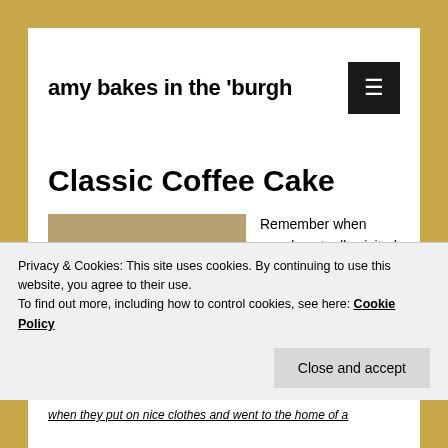amy bakes in the 'burgh
Classic Coffee Cake
[Figure (photo): A slice of coffee cake with crumb topping and white icing drizzle on a white plate]
Remember when people actually visited one another.
Privacy & Cookies: This site uses cookies. By continuing to use this website, you agree to their use. To find out more, including how to control cookies, see here: Cookie Policy
when they put on nice clothes and went to the home of a